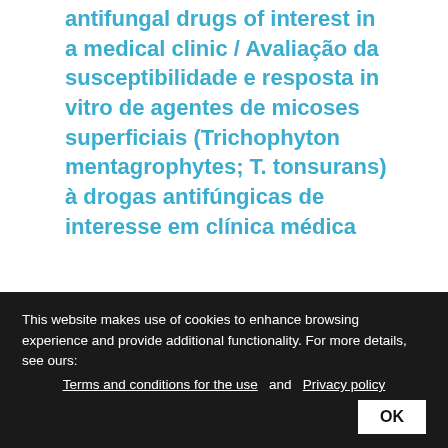antifungal drugs of interest in a medical clinic / Avaliação da susceptibilidade e resposta in vitro de agentes de micoses superficiais (Trichophyton mentagrophytes; T. tonsurans) à drogas antifúngicas de interesse em clínica médica
Santos Júnior, Claudio José dos; Melo, Andressa Rafaelle de Lima; Nascimento, Jéssica Maria Diniz do; Silva, Silvana Maria Teixeira da; Araújo, Maria Anilda dos Santos; Souza, Aryanna Kelly Pinheiro.
ABCS health sci : 46: e021203, 09 fev. 2021.
This website makes use of cookies to enhance browsing experience and provide additional functionality. For more details, see ours: Terms and conditions for the use  and  Privacy policy